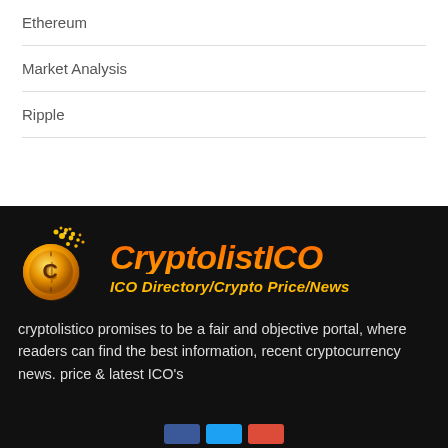Ethereum
Market Analysis
Ripple
[Figure (logo): CryptolistICO logo — gold coin icon with C symbol and dots/particles, orange-to-yellow gradient text reading CryptolistICO, subtitle ICO Directory/Crypto Price/News in yellow italic bold]
cryptolistico promises to be a fair and objective portal, where readers can find the best information, recent cryptocurrency news. price & latest ICO's